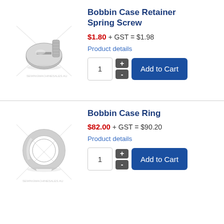[Figure (photo): Photo of a small metal slotted pan head screw (Bobbin Case Retainer Spring Screw) with watermark X overlay]
Bobbin Case Retainer Spring Screw
$1.80 + GST = $1.98
Product details
1  +  -  Add to Cart
[Figure (photo): Photo of a metal split ring (Bobbin Case Ring) with watermark X overlay]
Bobbin Case Ring
$82.00 + GST = $90.20
Product details
1  +  -  Add to Cart